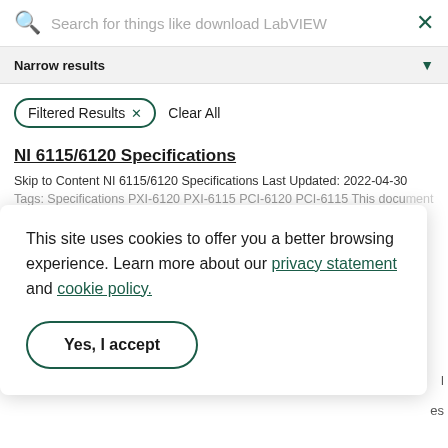Search for things like download LabVIEW
Narrow results
Filtered Results × Clear All
NI 6115/6120 Specifications
Skip to Content NI 6115/6120 Specifications Last Updated: 2022-04-30 Tags: Specifications PXI-6120 PXI-6115 PCI-6120 PCI-6115 This document
This site uses cookies to offer you a better browsing experience. Learn more about our privacy statement and cookie policy.
Yes, I accept